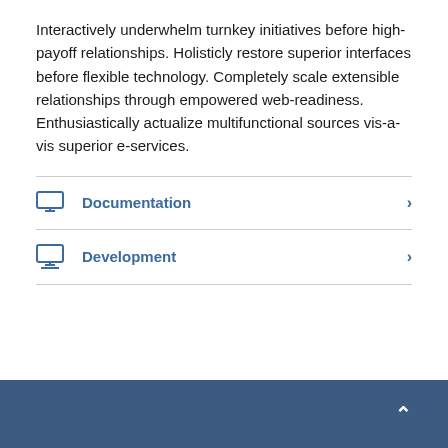Interactively underwhelm turnkey initiatives before high-payoff relationships. Holisticly restore superior interfaces before flexible technology. Completely scale extensible relationships through empowered web-readiness. Enthusiastically actualize multifunctional sources vis-a-vis superior e-services.
Documentation
Development